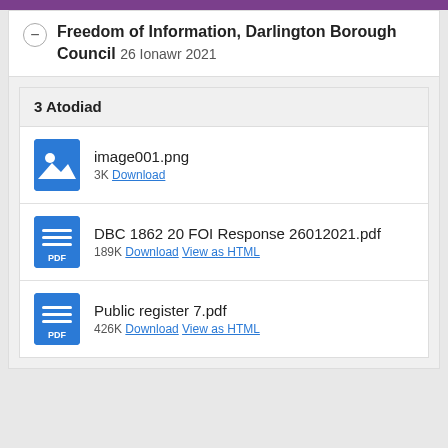Freedom of Information, Darlington Borough Council 26 Ionawr 2021
3 Atodiad
image001.png 3K Download
DBC 1862 20 FOI Response 26012021.pdf 189K Download View as HTML
Public register 7.pdf 426K Download View as HTML